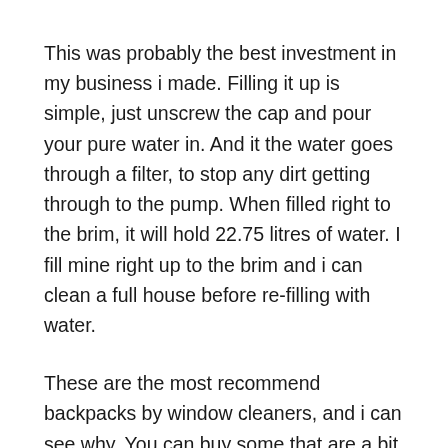This was probably the best investment in my business i made. Filling it up is simple, just unscrew the cap and pour your pure water in. And it the water goes through a filter, to stop any dirt getting through to the pump. When filled right to the brim, it will hold 22.75 litres of water. I fill mine right up to the brim and i can clean a full house before re-filling with water.
These are the most recommend backpacks by window cleaners, and i can see why. You can buy some that are a bit cheaper, but won't come close to these. They are not just cheap and won't fall apart, they feel quality and look professional.
Installed is a 12v quiet 60psi pump, which is more than